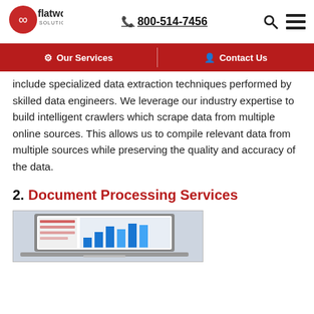flatworld solutions | 800-514-7456
Our Services | Contact Us
include specialized data extraction techniques performed by skilled data engineers. We leverage our industry expertise to build intelligent crawlers which scrape data from multiple online sources. This allows us to compile relevant data from multiple sources while preserving the quality and accuracy of the data.
2. Document Processing Services
[Figure (screenshot): Screenshot of a laptop/tablet showing a dashboard with bar charts and data visualizations]